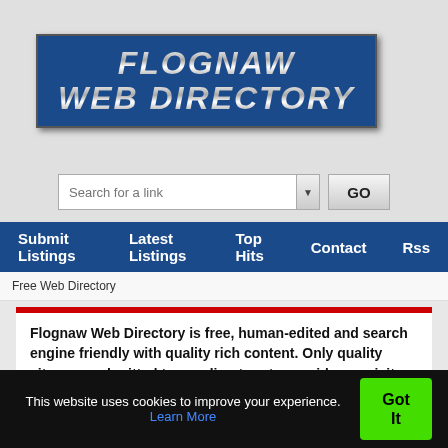[Figure (logo): Flognaw Web Directory logo — blue rectangle with silver/chrome italic bold text reading FLOGNAW WEB DIRECTORY]
[Figure (screenshot): Search bar with placeholder 'Search for a link', dropdown arrow, and GO button]
Submit Listings   Latest Listings   Top Hits   Contact   Rss
Free Web Directory
Flognaw Web Directory is free, human-edited and search engine friendly with quality rich content. Only quality sites are submitted to our directory to provide our visitors with valuable resources. Browse the categories below to find helpful resouces and information or to add your website to our listing [click here]
This website uses cookies to improve your experience. Learn More